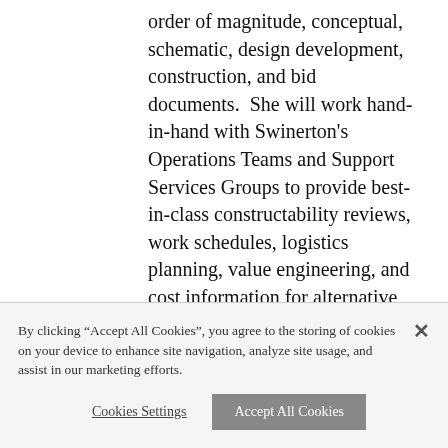order of magnitude, conceptual, schematic, design development, construction, and bid documents.  She will work hand-in-hand with Swinerton's Operations Teams and Support Services Groups to provide best-in-class constructability reviews, work schedules, logistics planning, value engineering, and cost information for alternative systems and materials, all to ensure that Swinerton's clients continue to receive high quality preconstruction services.
Born and raised on Oahu, Erika is an alumna of Punahou School and the
By clicking “Accept All Cookies”, you agree to the storing of cookies on your device to enhance site navigation, analyze site usage, and assist in our marketing efforts.
Cookies Settings
Accept All Cookies